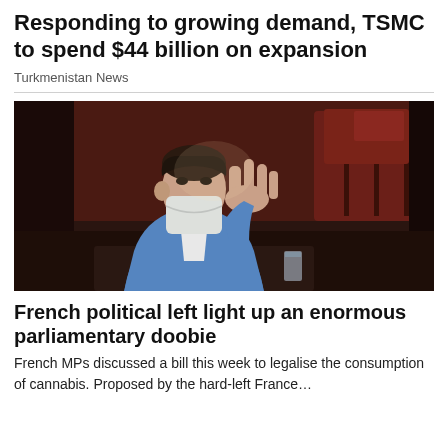Responding to growing demand, TSMC to spend $44 billion on expansion
Turkmenistan News
[Figure (photo): A man in a blue blazer and white face mask in what appears to be a parliamentary chamber with red seating. He is holding his hand up with fingers raised.]
French political left light up an enormous parliamentary doobie
French MPs discussed a bill this week to legalise the consumption of cannabis. Proposed by the hard-left France…